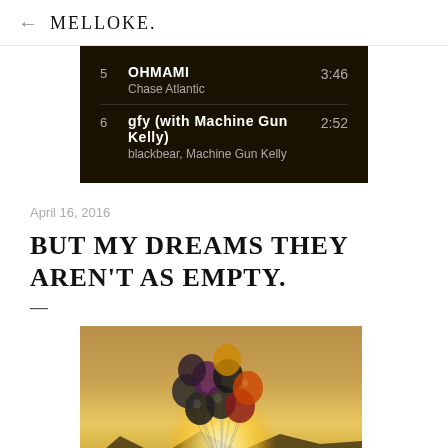← MELLOKE.
[Figure (screenshot): Music playlist screenshot showing two tracks: track 5 OHMAMI by Chase Atlantic (3:46) and track 6 gfy (with Machine Gun Kelly) by blackbear, Machine Gun Kelly (2:52), displayed on a dark background]
April 16, 2016
BUT MY DREAMS THEY AREN'T AS EMPTY.
[Figure (photo): A person holding a bunch of colorful balloons (dark, red, orange, purple) against a golden sunset sky with mountains in the background. The sun is glowing behind the balloons.]